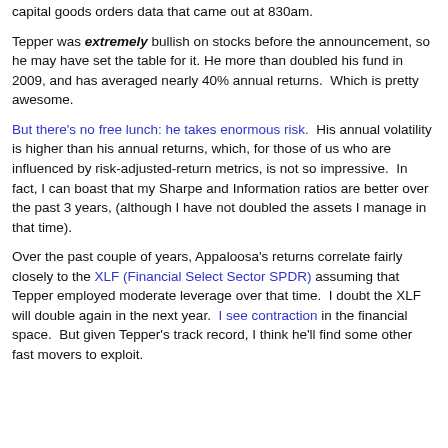capital goods orders data that came out at 830am.
Tepper was extremely bullish on stocks before the announcement, so he may have set the table for it. He more than doubled his fund in 2009, and has averaged nearly 40% annual returns.  Which is pretty awesome.
But there's no free lunch: he takes enormous risk.  His annual volatility is higher than his annual returns, which, for those of us who are influenced by risk-adjusted-return metrics, is not so impressive.  In fact, I can boast that my Sharpe and Information ratios are better over the past 3 years, (although I have not doubled the assets I manage in that time).
Over the past couple of years, Appaloosa's returns correlate fairly closely to the XLF (Financial Select Sector SPDR) assuming that Tepper employed moderate leverage over that time.  I doubt the XLF will double again in the next year.  I see contraction in the financial space.  But given Tepper's track record, I think he'll find some other fast movers to exploit.